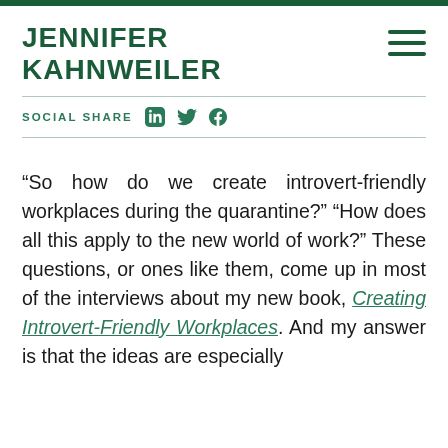JENNIFER KAHNWEILER
SOCIAL SHARE
“So how do we create introvert-friendly workplaces during the quarantine?” “How does all this apply to the new world of work? ” These questions, or ones like them, come up in most of the interviews about my new book, Creating Introvert-Friendly Workplaces. And my answer is that the ideas are especially